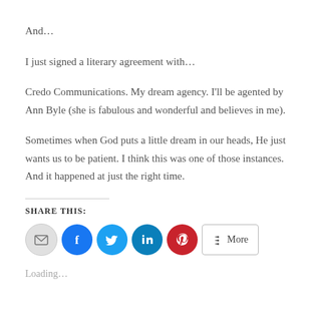And…
I just signed a literary agreement with…
Credo Communications. My dream agency. I'll be agented by Ann Byle (she is fabulous and wonderful and believes in me).
Sometimes when God puts a little dream in our heads, He just wants us to be patient. I think this was one of those instances. And it happened at just the right time.
SHARE THIS:
[Figure (infographic): Share buttons row: Email (grey circle), Facebook (blue circle), Twitter (cyan circle), LinkedIn (teal circle), Pinterest (red circle), More button (rectangle with share icon)]
Loading…